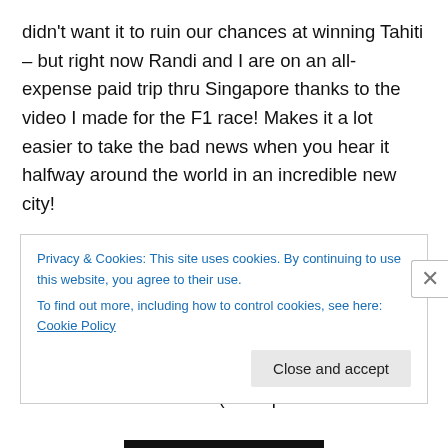didn't want it to ruin our chances at winning Tahiti – but right now Randi and I are on an all-expense paid trip thru Singapore thanks to the video I made for the F1 race! Makes it a lot easier to take the bad news when you hear it halfway around the world in an incredible new city!
More on the Good – this trip has been incredible. I've never been to a formula 1 race before, and it is very loud. Also, this city is clean as hell, the tourist board put us up in an awesome hotel, is feeding us like royalty, and packing our short trip here with TONS of stuff (more pictures to
Privacy & Cookies: This site uses cookies. By continuing to use this website, you agree to their use.
To find out more, including how to control cookies, see here: Cookie Policy
Close and accept